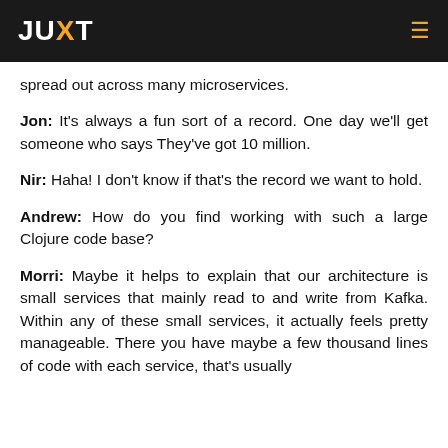JUXT
spread out across many microservices.
Jon: It's always a fun sort of a record. One day we'll get someone who says They've got 10 million.
Nir: Haha! I don't know if that's the record we want to hold.
Andrew: How do you find working with such a large Clojure code base?
Morri: Maybe it helps to explain that our architecture is small services that mainly read to and write from Kafka. Within any of these small services, it actually feels pretty manageable. There you have maybe a few thousand lines of code with each service, that's usually